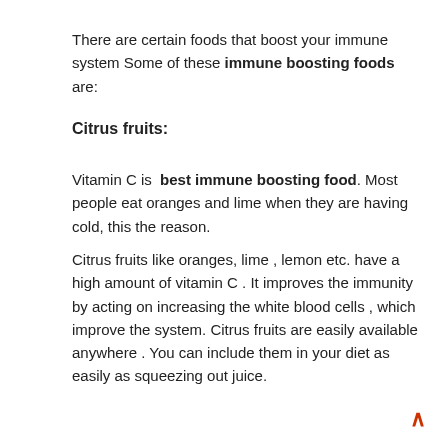There are certain foods that boost your immune system Some of these immune boosting foods are:
Citrus fruits:
Vitamin C is best immune boosting food. Most people eat oranges and lime when they are having cold, this the reason.
Citrus fruits like oranges, lime , lemon etc. have a high amount of vitamin C . It improves the immunity by acting on increasing the white blood cells , which improve the system. Citrus fruits are easily available anywhere . You can include them in your diet as easily as squeezing out juice.